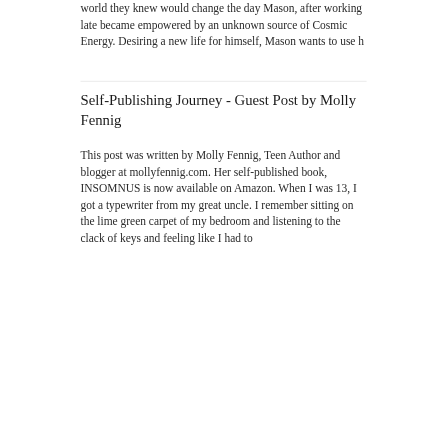world they knew would change the day Mason, after working late became empowered by an unknown source of Cosmic Energy. Desiring a new life for himself, Mason wants to use h
Self-Publishing Journey - Guest Post by Molly Fennig
This post was written by Molly Fennig, Teen Author and blogger at mollyfennig.com. Her self-published book, INSOMNUS is now available on Amazon. When I was 13, I got a typewriter from my great uncle. I remember sitting on the lime green carpet of my bedroom and listening to the clack of keys and feeling like I had to